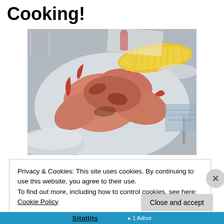Cooking!
[Figure (photo): A plate of seasoned cooked shrimp with corn on the cob visible in the background, photographed at a restaurant or casual dining setting.]
Privacy & Cookies: This site uses cookies. By continuing to use this website, you agree to their use.
To find out more, including how to control cookies, see here: Cookie Policy
Close and accept